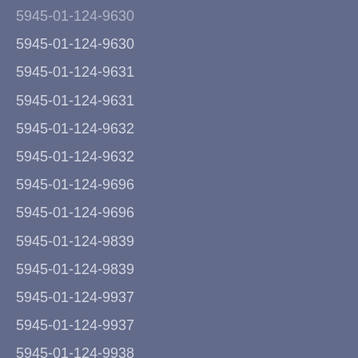5945-01-124-9630
5945-01-124-9631
5945-01-124-9631
5945-01-124-9632
5945-01-124-9632
5945-01-124-9696
5945-01-124-9696
5945-01-124-9839
5945-01-124-9839
5945-01-124-9937
5945-01-124-9937
5945-01-124-9938
5945-01-124-9938